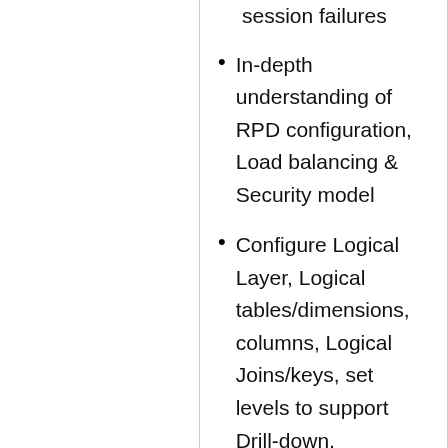session failures
In-depth understanding of RPD configuration, Load balancing & Security model
Configure Logical Layer, Logical tables/dimensions, columns, Logical Joins/keys, set levels to support Drill-down, Aggregation, Level based hierarchies and